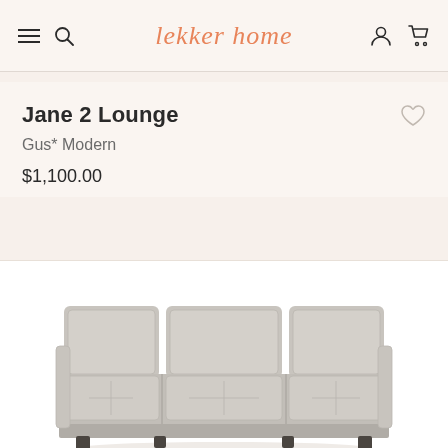lekker home
Jane 2 Lounge
Gus* Modern
$1,100.00
[Figure (photo): Front view of a grey three-seat sofa/lounge chair (Jane 2 Lounge by Gus* Modern) with tufted seat cushions and dark legs, shown against a white background]